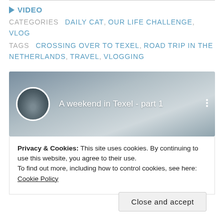▶ VIDEO
CATEGORIES  DAILY CAT, OUR LIFE CHALLENGE, VLOG
TAGS  CROSSING OVER TO TEXEL, ROAD TRIP IN THE NETHERLANDS, TRAVEL, VLOGGING
[Figure (screenshot): Embedded video thumbnail showing 'A weekend in Texel - part 1' with a channel avatar of two people and a sky background]
Privacy & Cookies: This site uses cookies. By continuing to use this website, you agree to their use.
To find out more, including how to control cookies, see here:
Cookie Policy
Close and accept